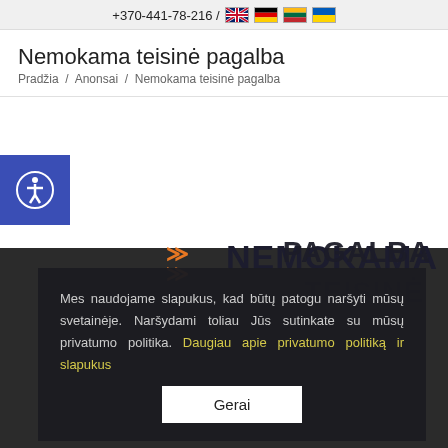+370-441-78-216 / [flags: UK, DE, LT, UA]
Nemokama teisinė pagalba
Pradžia  /  Anonsai  /  Nemokama teisinė pagalba
[Figure (illustration): Blue accessibility icon button (person in circle)]
[Figure (infographic): Large bold text: NEMOKAMA TEISINĖ PAGALBA JŪSŲ BIBLIOTEKOJE! with orange double-chevron arrow, on dark background]
Mes naudojame slapukus, kad būtų patogu naršyti mūsų svetainėje. Naršydami toliau Jūs sutinkate su mūsų privatumo politika. Daugiau apie privatumo politiką ir slapukus
Gerai